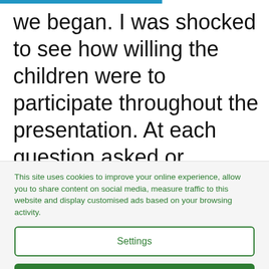we began. I was shocked to see how willing the children were to participate throughout the presentation. At each question asked or opportunity given, the
This site uses cookies to improve your online experience, allow you to share content on social media, measure traffic to this website and display customised ads based on your browsing activity.
Settings
Accept